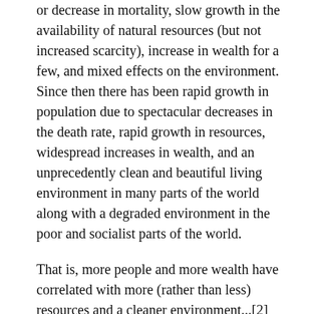or decrease in mortality, slow growth in the availability of natural resources (but not increased scarcity), increase in wealth for a few, and mixed effects on the environment. Since then there has been rapid growth in population due to spectacular decreases in the death rate, rapid growth in resources, widespread increases in wealth, and an unprecedently clean and beautiful living environment in many parts of the world along with a degraded environment in the poor and socialist parts of the world.
That is, more people and more wealth have correlated with more (rather than less) resources and a cleaner environment...[2]
Cleaner environment has only come where there's not too much socialism